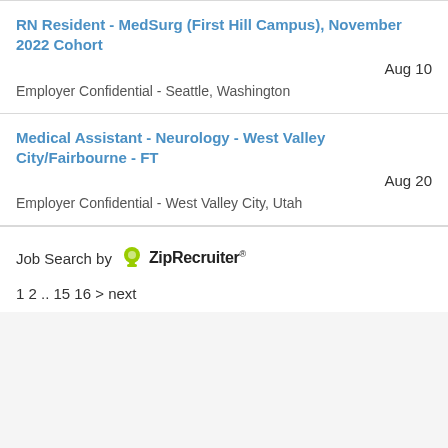RN Resident - MedSurg (First Hill Campus), November 2022 Cohort
Aug 10
Employer Confidential - Seattle, Washington
Medical Assistant - Neurology - West Valley City/Fairbourne - FT
Aug 20
Employer Confidential - West Valley City, Utah
Job Search by ZipRecruiter
1 2 .. 15 16 > next